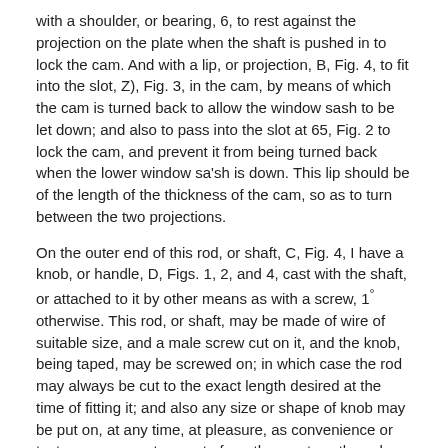with a shoulder, or bearing, 6, to rest against the projection on the plate when the shaft is pushed in to lock the cam. And with a lip, or projection, B, Fig. 4, to fit into the slot, Z), Fig. 3, in the cam, by means of which the cam is turned back to allow the window sash to be let down; and also to pass into the slot at 65, Fig. 2 to lock the cam, and prevent it from being turned back when the lower window sa'sh is down. This lip should be of the length of the thickness of the cam, so as to turn between the two projections.
On the outer end of this rod, or shaft, C, Fig. 4, I have a knob, or handle, D, Figs. 1, 2, and 4, cast with the shaft, or attached to it by other means as with a screw, 1° otherwise. This rod, or shaft, may be made of wire of suitable size, and a male screw cut on it, and the knob, being taped, may be screwed on; in which case the rod may always be cut to the exact length desired at the time of fitting it; and also any size or shape of knob may be put on, at any time, at pleasure, as convenience or taste may suggest, even to form the most costly and elegant curtain pin.
On the back side of the plate, A, I fit a spring, as seen at E,